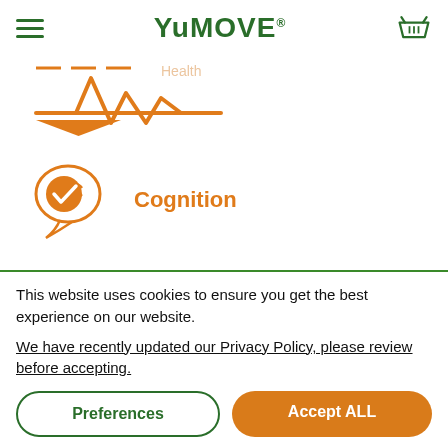YuMOVE
[Figure (logo): YuMOVE brand logo with hamburger menu and shopping basket icons]
[Figure (illustration): Partial orange heartbeat/vitals icon visible at top]
[Figure (illustration): Orange brain/cognition icon with checkmark]
Cognition
This website uses cookies to ensure you get the best experience on our website.
We have recently updated our Privacy Policy, please review before accepting.
Preferences
Accept ALL